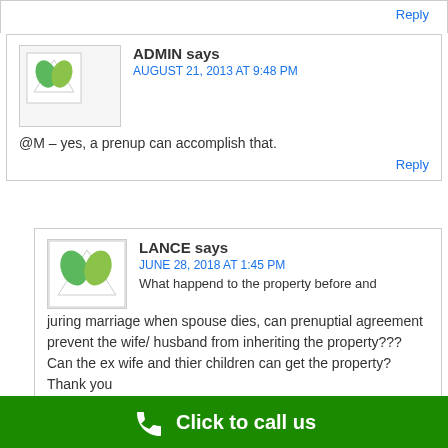Reply
ADMIN says
AUGUST 21, 2013 AT 9:48 PM
@M – yes, a prenup can accomplish that.
Reply
LANCE says
JUNE 28, 2018 AT 1:45 PM
What happend to the property before and juring marriage when spouse dies, can prenuptial agreement prevent the wife/ husband from inheriting the property???
Can the ex wife and thier children can get the property? Thank you
Reply
PRENUPLAWYER says
Click to call us